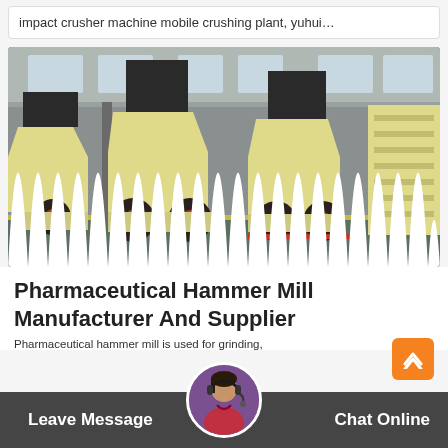impact crusher machine mobile crushing plant, yuhui…
[Figure (photo): Industrial factory floor showing multiple large yellow impact crusher machines lined up, with industrial building structure visible in background]
Pharmaceutical Hammer Mill Manufacturer And Supplier
Pharmaceutical hammer mill is used for grinding,